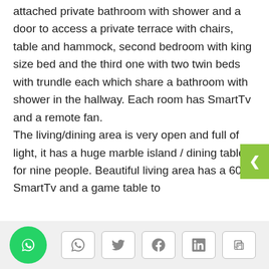a master bedroom with king size bed, attached private bathroom with shower and a door to access a private terrace with chairs, table and hammock, second bedroom with king size bed and the third one with two twin beds with trundle each which share a bathroom with shower in the hallway. Each room has SmartTv and a remote fan.

The living/dining area is very open and full of light, it has a huge marble island / dining table for nine people. Beautiful living area has a 60" SmartTv and a game table to